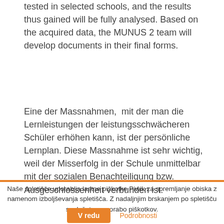tested in selected schools, and the results thus gained will be fully analysed. Based on the acquired data, the MUNUS 2 team will develop documents in their final forms.
Eine der Massnahmen,  mit der man die Lernleistungen der leistungsschwächeren Schüler erhöhen kann, ist der persönliche Lernplan. Diese Massnahme ist sehr wichtig, weil der Misserfolg in der Schule unmittelbar mit der sozialen Benachteiligung bzw. Ausgeschlossenheit verbunden ist.
Naše spletišče uporablja lastne piškotke Piwik za spremljanje obiska z namenom izboljševanja spletišča. Z nadaljnjim brskanjem po spletišču soglašate z uporabo piškotkov.
V redu
Podrobnosti